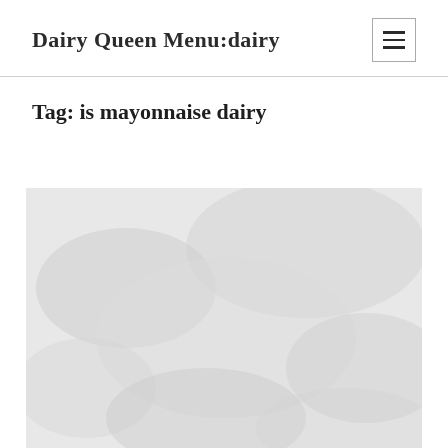Dairy Queen Menu:dairy
Tag: is mayonnaise dairy
[Figure (photo): A light gray cloudy or misty background image, serving as a featured image placeholder for an article about mayonnaise and dairy.]